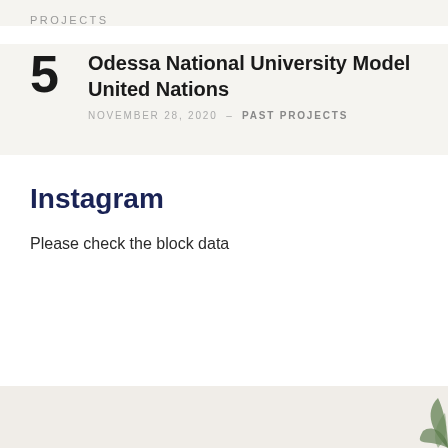PROJECTS
5 — Odessa National University Model United Nations — NOVEMBER 28, 2020 – PAST PROJECTS
Instagram
Please check the block data